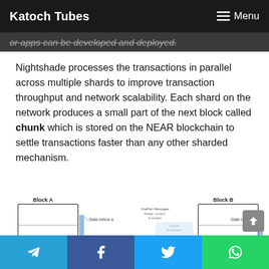Katoch Tubes   ☰ Menu
or apps can be developed and deployed.
Nightshade processes the transactions in parallel across multiple shards to improve transaction throughput and network scalability. Each shard on the network produces a small part of the next block called chunk which is stored on the NEAR blockchain to settle transactions faster than any other sharded mechanism.
[Figure (infographic): Diagram showing Block A and Block B connected via OnePart Messages (Header, content & receipts) with Chunk Producers. Block A contains 'Chunk a in A' with State transition function. Block B contains 'Chunk a in B' with State transition function. Arrows and envelope icons represent message passing between blocks.]
Telegram | Facebook | Twitter | WhatsApp share buttons